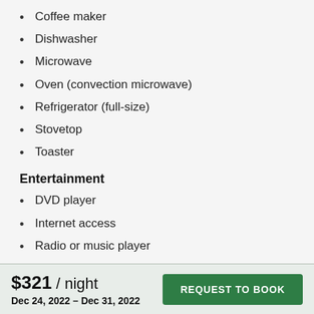Coffee maker
Dishwasher
Microwave
Oven (convection microwave)
Refrigerator (full-size)
Stovetop
Toaster
Entertainment
DVD player
Internet access
Radio or music player
Telephone
TV
$321 / night  Dec 24, 2022 – Dec 31, 2022  REQUEST TO BOOK